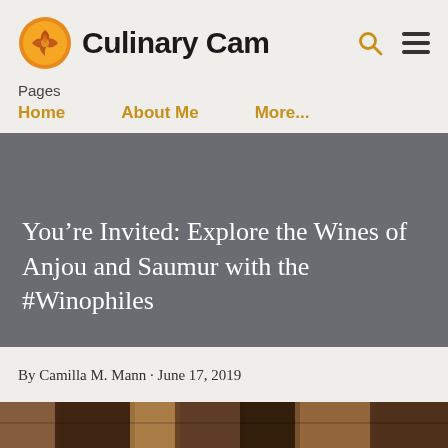Culinary Cam
Pages
Home
About Me
More...
You’re Invited: Explore the Wines of Anjou and Saumur with the #Winophiles
By Camilla M. Mann · June 17, 2019
[Figure (photo): Partial view of a photo at the bottom of the page showing a food or wine scene]